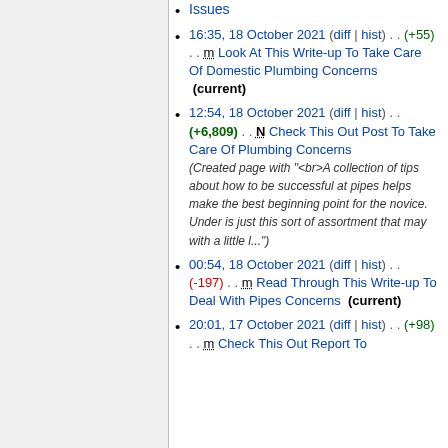Issues
16:35, 18 October 2021 (diff | hist) . . (+55) . . m Look At This Write-up To Take Care Of Domestic Plumbing Concerns (current)
12:54, 18 October 2021 (diff | hist) . . (+6,809) . . N Check This Out Post To Take Care Of Plumbing Concerns (Created page with "<br>A collection of tips about how to be successful at pipes helps make the best beginning point for the novice. Under is just this sort of assortment that may with a little l...")
00:54, 18 October 2021 (diff | hist) . . (-197) . . m Read Through This Write-up To Deal With Pipes Concerns (current)
20:01, 17 October 2021 (diff | hist) . . (+98) . . m Check This Out Report To